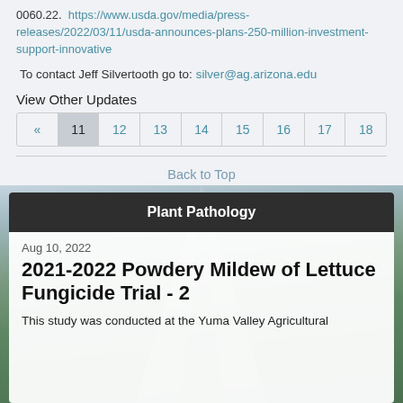0060.22. https://www.usda.gov/media/press-releases/2022/03/11/usda-announces-plans-250-million-investment-support-innovative
To contact Jeff Silvertooth go to: silver@ag.arizona.edu
View Other Updates
« 11 12 13 14 15 16 17 18
Back to Top
Plant Pathology
Aug 10, 2022
2021-2022 Powdery Mildew of Lettuce Fungicide Trial - 2
This study was conducted at the Yuma Valley Agricultural